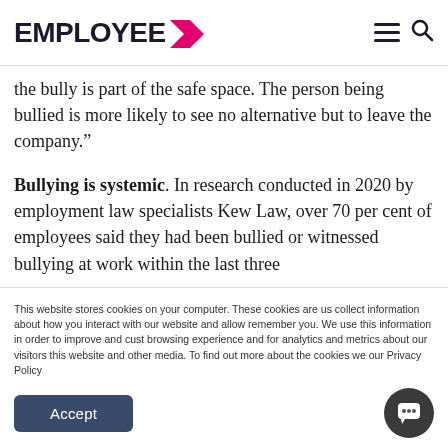EMPLOYEE >
the bully is part of the safe space. The person being bullied is more likely to see no alternative but to leave the company.”
Bullying is systemic. In research conducted in 2020 by employment law specialists Kew Law, over 70 per cent of employees said they had been bullied or witnessed bullying at work within the last three
This website stores cookies on your computer. These cookies are us collect information about how you interact with our website and allow remember you. We use this information in order to improve and cust browsing experience and for analytics and metrics about our visitors this website and other media. To find out more about the cookies we our Privacy Policy